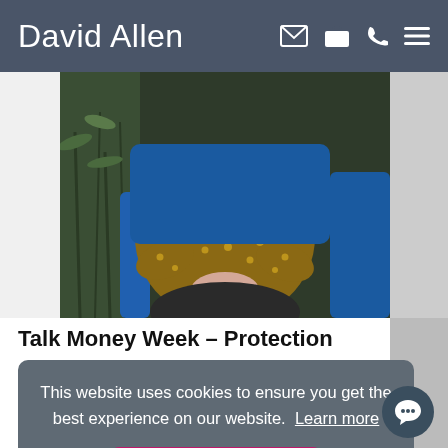David Allen
[Figure (photo): Person in brown/gold polka dot blouse seated in a blue chair with hands clasped, plants visible in background]
Talk Money Week – Protection
15 November 2021
This website uses cookies to ensure you get the best experience on our website.  Learn more
OK